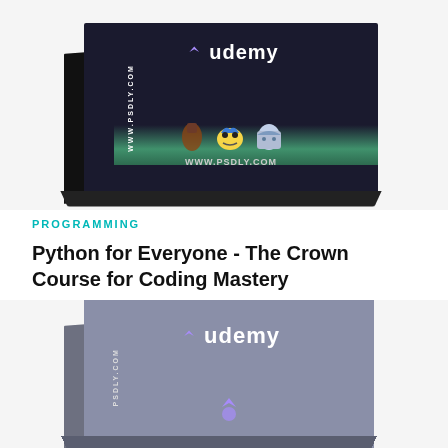[Figure (photo): Udemy course box for Python course with dark background featuring Python logo and gaming characters, with WWW.PSDLY.COM watermark]
PROGRAMMING
Python for Everyone - The Crown Course for Coding Mastery
[Figure (photo): Udemy course box with gray/silver background showing Udemy branding with PSDLY.COM watermark]